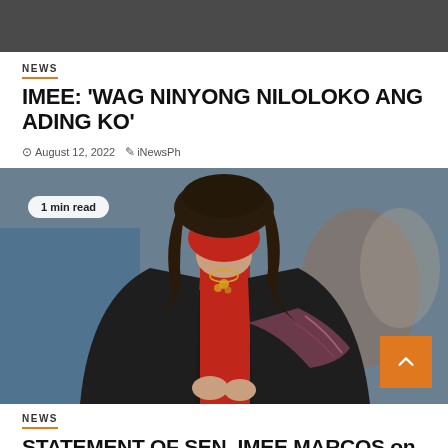NEWS
IMEE: ‘WAG NINYONG NILOLOKO ANG ADING KO’
August 12, 2022   iNewsPh
[Figure (photo): Woman wearing red mask and red top under a black jacket, with gold necklace, in an indoor setting. Badge overlay says '1 min read'. Orange scroll-to-top button bottom right.]
NEWS
STATEMENT OF SEN. IMEE MARCOS on ELECTRIC